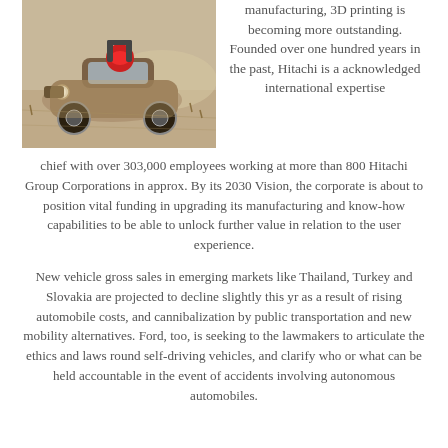[Figure (photo): A dusty off-road racing car (sports car body style) driving through a desert/dirt terrain, with a driver visible. The car appears heavily soiled with sand and dirt.]
manufacturing, 3D printing is becoming more outstanding. Founded over one hundred years in the past, Hitachi is a acknowledged international expertise chief with over 303,000 employees working at more than 800 Hitachi Group Corporations in approx. By its 2030 Vision, the corporate is about to position vital funding in upgrading its manufacturing and know-how capabilities to be able to unlock further value in relation to the user experience.
New vehicle gross sales in emerging markets like Thailand, Turkey and Slovakia are projected to decline slightly this yr as a result of rising automobile costs, and cannibalization by public transportation and new mobility alternatives. Ford, too, is seeking to the lawmakers to articulate the ethics and laws round self-driving vehicles, and clarify who or what can be held accountable in the event of accidents involving autonomous automobiles.